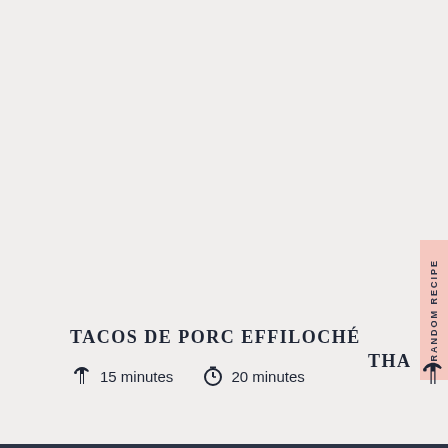RANDOM RECIPE
TACOS DE PORC EFFILOCHÉ
15 minutes   20 minutes
THA